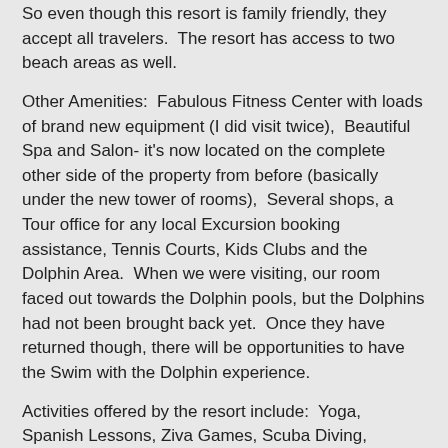So even though this resort is family friendly, they accept all travelers.  The resort has access to two beach areas as well.
Other Amenities:  Fabulous Fitness Center with loads of brand new equipment (I did visit twice),  Beautiful Spa and Salon- it's now located on the complete other side of the property from before (basically under the new tower of rooms),  Several shops, a Tour office for any local Excursion booking assistance, Tennis Courts, Kids Clubs and the Dolphin Area.  When we were visiting, our room faced out towards the Dolphin pools, but the Dolphins had not been brought back yet.  Once they have returned though, there will be opportunities to have the Swim with the Dolphin experience.
Activities offered by the resort include:  Yoga, Spanish Lessons, Ziva Games, Scuba Diving, Stretching Class, Handcrafts, Pilates, Aquaaerobics, Cooking Classes, Boccee ball, Horse-shoes, pool games/activites and beach volleyball.